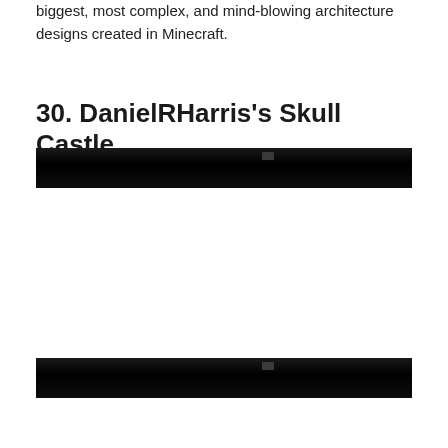biggest, most complex, and mind-blowing architecture designs created in Minecraft.
30. DanielRHarris's Skull Castle
[Figure (photo): Dark/black image showing a Minecraft skull castle build, top portion visible]
[Figure (photo): Dark/black image showing a Minecraft skull castle build, bottom portion visible]